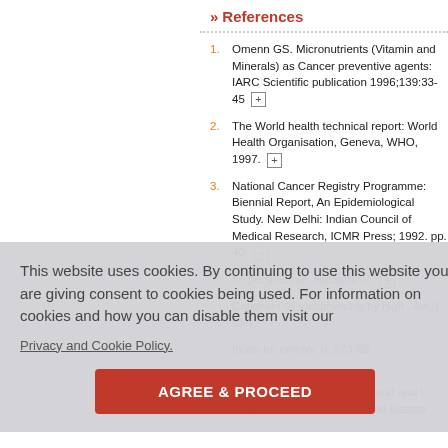» References
Omenn GS. Micronutrients (Vitamin and Minerals) as Cancer preventive agents: IARC Scientific publication 1996;139:33-45 [+]
The World health technical report: World Health Organisation, Geneva, WHO, 1997. [+]
National Cancer Registry Programme: Biennial Report, An Epidemiological Study. New Delhi: Indian Council of Medical Research, ICMR Press; 1992. pp. 40. [+]
...he perspective. esearch, -7. [+]
Catignani GL tocopherol ls by high . Am J Clin
thods for ometry. p. 273-90.
od for determination of L-ascorbic acid and L-Dehydroascorbic acid in blood plasma.
This website uses cookies. By continuing to use this website you are giving consent to cookies being used. For information on cookies and how you can disable them visit our Privacy and Cookie Policy. AGREE & PROCEED